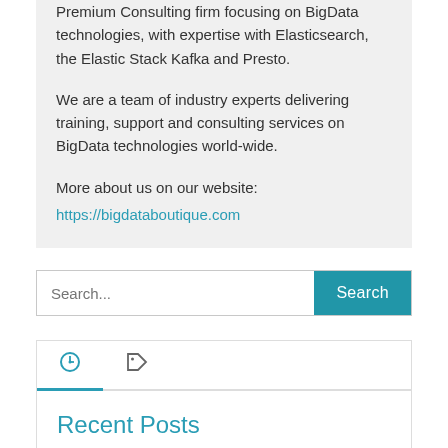Premium Consulting firm focusing on BigData technologies, with expertise with Elasticsearch, the Elastic Stack Kafka and Presto.
We are a team of industry experts delivering training, support and consulting services on BigData technologies world-wide.
More about us on our website:
https://bigdataboutique.com
Search...
Recent Posts